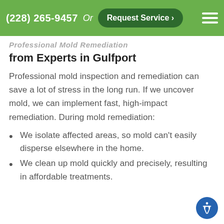(228) 265-9457  Or  Request Service >
Professional Mold Remediation from Experts in Gulfport
Professional mold inspection and remediation can save a lot of stress in the long run. If we uncover mold, we can implement fast, high-impact remediation. During mold remediation:
We isolate affected areas, so mold can't easily disperse elsewhere in the home.
We clean up mold quickly and precisely, resulting in affordable treatments.